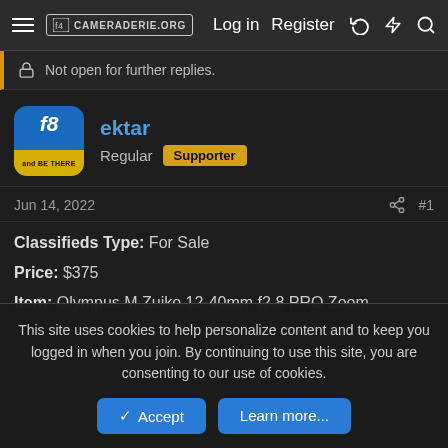cameraderie.org — Log in  Register
Not open for further replies.
ektar
Regular  Supporter
Jun 14, 2022  #1
Classifieds Type: For Sale
Price: $375
Item: Olympus M.Zuiko 12-40mm f2.8 PRO Zoom
This site uses cookies to help personalize content and to keep you logged in when you join. By continuing to use this site, you are consenting to our use of cookies.